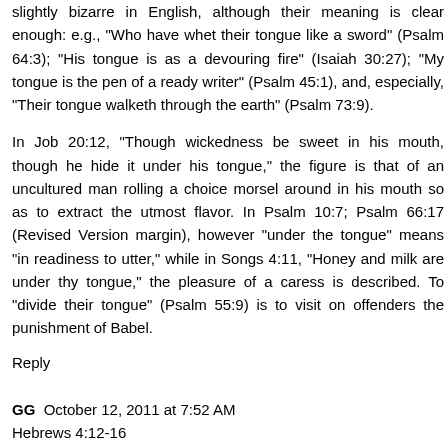slightly bizarre in English, although their meaning is clear enough: e.g., "Who have whet their tongue like a sword" (Psalm 64:3); "His tongue is as a devouring fire" (Isaiah 30:27); "My tongue is the pen of a ready writer" (Psalm 45:1), and, especially, "Their tongue walketh through the earth" (Psalm 73:9).
In Job 20:12, "Though wickedness be sweet in his mouth, though he hide it under his tongue," the figure is that of an uncultured man rolling a choice morsel around in his mouth so as to extract the utmost flavor. In Psalm 10:7; Psalm 66:17 (Revised Version margin), however "under the tongue" means "in readiness to utter," while in Songs 4:11, "Honey and milk are under thy tongue," the pleasure of a caress is described. To "divide their tongue" (Psalm 55:9) is to visit on offenders the punishment of Babel.
Reply
GG  October 12, 2011 at 7:52 AM
Hebrews 4:12-16